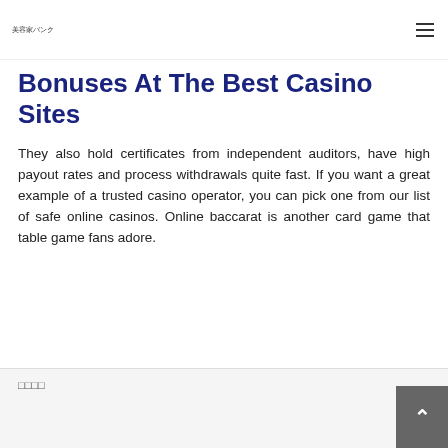美容家バンク
Bonuses At The Best Casino Sites
They also hold certificates from independent auditors, have high payout rates and process withdrawals quite fast. If you want a great example of a trusted casino operator, you can pick one from our list of safe online casinos. Online baccarat is another card game that table game fans adore.
□□□□